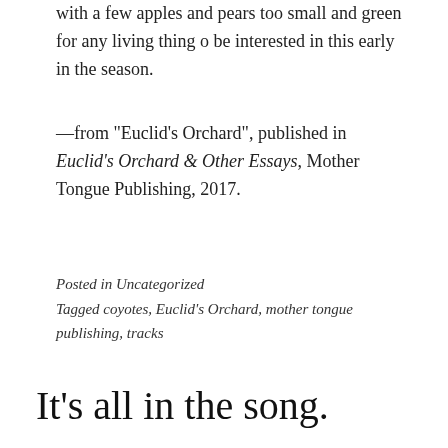with a few apples and pears too small and green for any living thing o be interested in this early in the season.
—from “Euclid’s Orchard”, published in Euclid’s Orchard & Other Essays, Mother Tongue Publishing, 2017.
Posted in Uncategorized
Tagged coyotes, Euclid’s Orchard, mother tongue publishing, tracks
It’s all in the song.